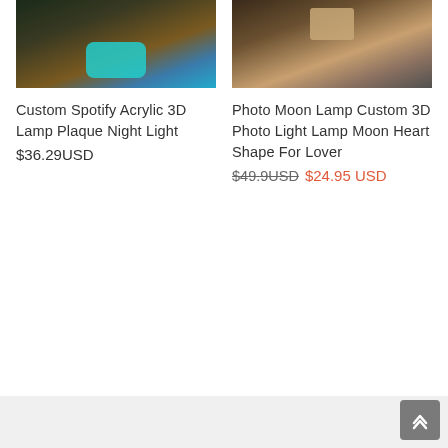[Figure (photo): Product photo of Custom Spotify Acrylic 3D Lamp Plaque Night Light — teal/cyan cylindrical lamp on wooden surface, dark background]
[Figure (photo): Product photo of Photo Moon Lamp Custom 3D Photo Light Lamp Moon Heart Shape For Lover — wooden box on fur/fabric, dark background]
Custom Spotify Acrylic 3D Lamp Plaque Night Light
$36.29USD
Photo Moon Lamp Custom 3D Photo Light Lamp Moon Heart Shape For Lover
$49.9USD  $24.95 USD